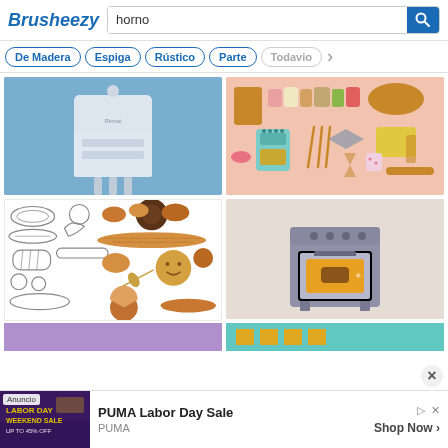Brusheezy — horno
De Madera
Espiga
Rústico
Parte
Todavio
[Figure (photo): White gas boiler unit mounted on a blue wall with pipes at the bottom]
[Figure (illustration): Flat design kitchen/bakery icon set on pink background: cutting board, jars, retro oven, utensils, bowls, wooden furniture, rolling pin]
[Figure (illustration): Collection of bread and pastry sketches/illustrations: baguettes, loaves, croissants, pie, rolls in both outline and colored styles]
[Figure (illustration): Flat illustration of a gray kitchen stove/oven with food baking inside, on light beige background]
Anuncio — PUMA Labor Day Sale — PUMA — Shop Now